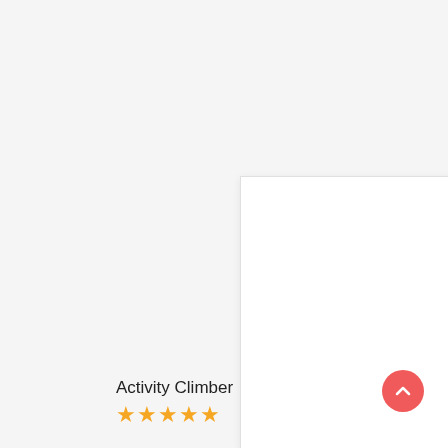[Figure (photo): White blank product image placeholder with light border and shadow]
Activity Climber
[Figure (illustration): Five gold/yellow star rating icons]
[Figure (illustration): Red circular scroll-to-top button with upward chevron arrow]